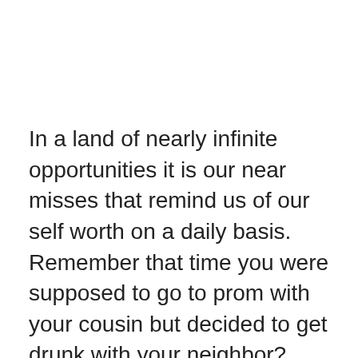In a land of nearly infinite opportunities it is our near misses that remind us of our self worth on a daily basis. Remember that time you were supposed to go to prom with your cousin but decided to get drunk with your neighbor? Slam dunk decision. Remember that time you had one foot in the door going into Chipotle but then your wife called and she told you she was going into labor? No e-coli for you, buddy. Remember when you were on trial for murdering your wife but the glove didn't fit right and Johnny Cochran was your defense lawyer? You're OJ Simpson, baby. Near misses are what makes us grateful human beings. Cherish them, because if it went the other way your